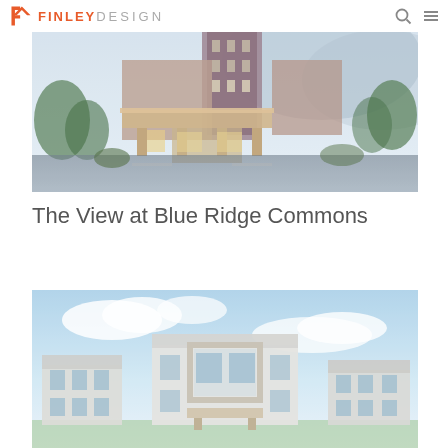FINLEY DESIGN
[Figure (photo): Exterior photo of a hotel/commercial building with a prominent covered entrance canopy, warm lighting, multi-story structure in the background, surrounded by trees, mountains visible in the background]
The View at Blue Ridge Commons
[Figure (illustration): Architectural rendering of a modern multi-story residential/commercial building complex with white and gray facade, large windows, covered entrance, and landscaping under a blue sky with clouds]